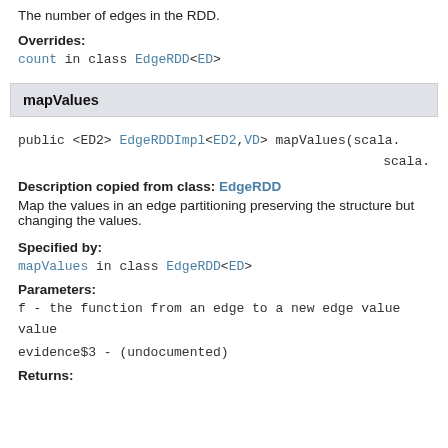The number of edges in the RDD.
Overrides:
count in class EdgeRDD<ED>
mapValues
public <ED2> EdgeRDDImpl<ED2,VD> mapValues(scala. scala.
Description copied from class: EdgeRDD
Map the values in an edge partitioning preserving the structure but changing the values.
Specified by:
mapValues in class EdgeRDD<ED>
Parameters:
f - the function from an edge to a new edge value
evidence$3 - (undocumented)
Returns: